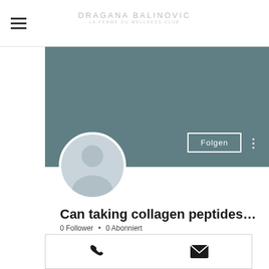DRAGANA BALINOVIC
[Figure (screenshot): Social media profile page screenshot showing a teal/dark-cyan cover photo, a circular default profile avatar silhouette, a 'Folgen' (Follow) button with three-dot menu, title 'Can taking collagen peptides...', follower stats '0 Follower • 0 Abonniert', a dropdown box with chevron, a 'Profil' section heading, and a bottom action bar with phone and email icons.]
Can taking collagen peptides...
0 Follower • 0 Abonniert
Profil